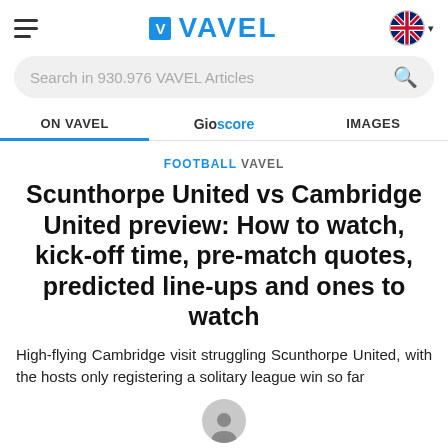VAVEL — hamburger menu, VAVEL logo, UK flag language selector
Search in 930.976 VAVEL Articles
ON VAVEL | Gioscore | IMAGES
FOOTBALL VAVEL
Scunthorpe United vs Cambridge United preview: How to watch, kick-off time, pre-match quotes, predicted line-ups and ones to watch
High-flying Cambridge visit struggling Scunthorpe United, with the hosts only registering a solitary league win so far
[Figure (photo): Author avatar showing a partial circular portrait photo at the bottom of the page]